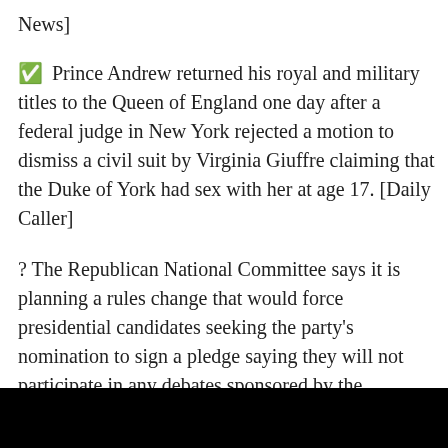News]
✅ Prince Andrew returned his royal and military titles to the Queen of England one day after a federal judge in New York rejected a motion to dismiss a civil suit by Virginia Giuffre claiming that the Duke of York had sex with her at age 17. [Daily Caller]
? The Republican National Committee says it is planning a rules change that would force presidential candidates seeking the party's nomination to sign a pledge saying they will not participate in any debates sponsored by the Commission on Presidential Debates. [Breitbart] This is the establishment debate commission that mistreated Trump in 2016/2020.
? Following the Supreme Court's ruling that vaccine mandates can remain in place for healthcare workers, federal employees have